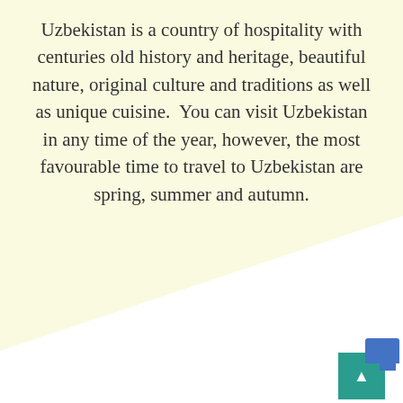Uzbekistan is a country of hospitality with centuries old history and heritage, beautiful nature, original culture and traditions as well as unique cuisine.  You can visit Uzbekistan in any time of the year, however, the most favourable time to travel to Uzbekistan are spring, summer and autumn.
[Figure (other): A teal/green scroll-to-top button with upward arrow chevron, overlapping with a blue folder/document icon in the bottom-right corner of the page]